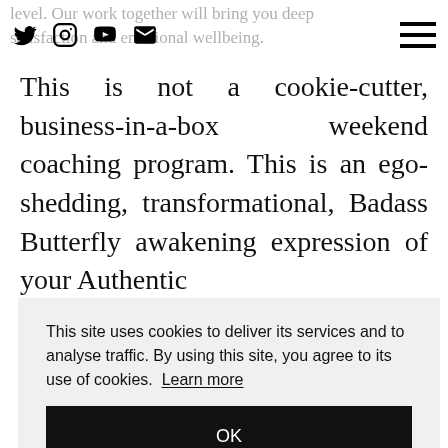level. Our work together will bring you deep satisfaction and emotional wellbeing.
This is not a cookie-cutter, business-in-a-box weekend coaching program. This is an ego-shedding, transformational, Badass Butterfly awakening expression of your Authentic
This site uses cookies to deliver its services and to analyse traffic. By using this site, you agree to its use of cookies. Learn more
OK
und so the